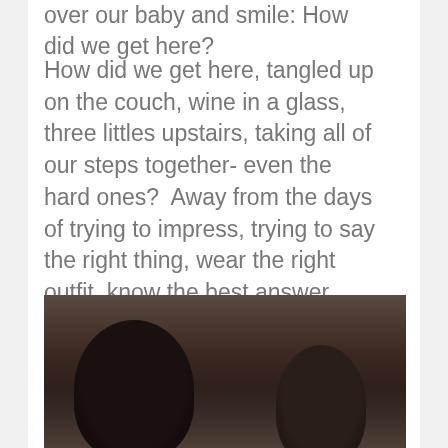over our baby and smile: How did we get here?
How did we get here, tangled up on the couch, wine in a glass, three littles upstairs, taking all of our steps together- even the hard ones?  Away from the days of trying to impress, trying to say the right thing, wear the right outfit, know the best answer, have the best one-liner, easily wounded out of insecure love?  Towards each other, towards Jesus, towards the rest-of-my-days, everyday ordinary feisty love?
[Figure (photo): Black and white / sepia-toned close-up photograph of two people (a woman with dark hair on the left and a man on the right), viewed from above, facing each other.]